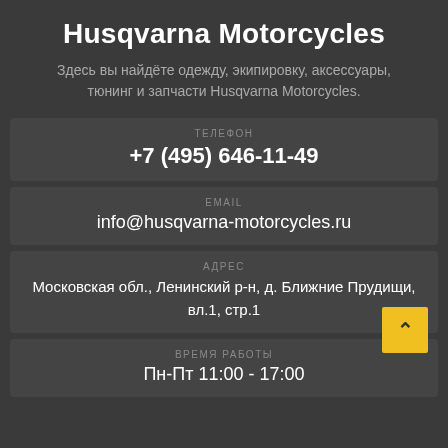Husqvarna Motorcycles
Здесь вы найдёте одежду, экипировку, аксессуары, тюнинг и запчасти Husqvarna Motorcycles.
ТЕЛЕФОН
+7 (495) 646-11-49
EMAIL
info@husqvarna-motorcycles.ru
АДРЕС
Московская обл., Ленинский р-н, д. Ближние Прудищи, вл.1, стр.1
ВРЕМЯ РАБОТЫ
Пн-Пт 11:00 - 17:00